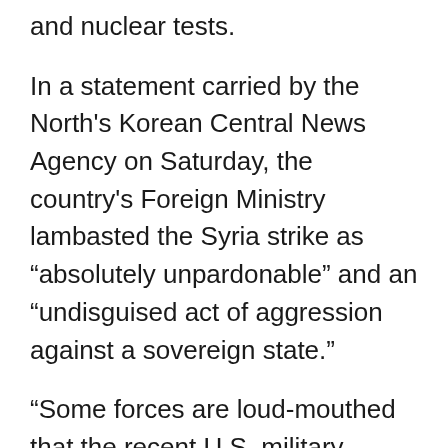and nuclear tests.
In a statement carried by the North's Korean Central News Agency on Saturday, the country's Foreign Ministry lambasted the Syria strike as “absolutely unpardonable” and an “undisguised act of aggression against a sovereign state.”
“Some forces are loud-mouthed that the recent U.S. military attack on Syria is an action of warning us but we are not frightened by it,” a Foreign Ministry spokesman was quoted by KCNA as saying.
The spokesman said the North’s nuclear arsenal is “a treasured sword of justice” in the face of